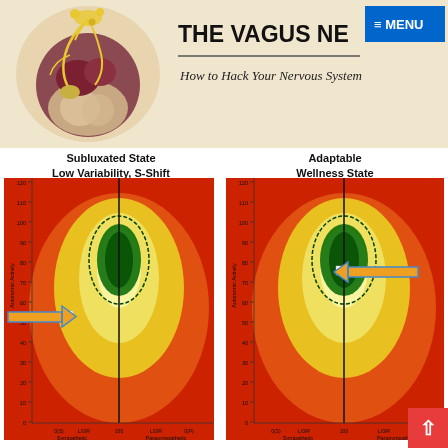[Figure (illustration): Screenshot of 'The Vagus Nerve' website header showing an anatomical illustration of the human torso with vagus nerve pathways on the left, the title 'THE VAGUS NE…' partially visible, a blue MENU button top right, and subtitle 'How to Hack Your Nervous System' in italic]
[Figure (continuous-plot): Heat map scatter plot labeled 'Subluxated State Low Variability, S-Shift'. Shows autonomic activity on y-axis (0-120), Sympathetic to Parasympathetic on x-axis. The plot has a warm color gradient (red/orange/yellow) with a green elliptical cluster near center-upper area. A white square marker and large orange arrow pointing right indicate an abnormal S-shifted position at low autonomic activity.]
[Figure (continuous-plot): Heat map scatter plot labeled 'Adaptable Wellness State'. Same axes as left chart (Autonomic Activity 0-120, Sympathetic to Parasympathetic). Green elliptical cluster near center. White square marker is positioned centrally within the green cluster. Large orange arrow points left toward the marker indicating ideal wellness position.]